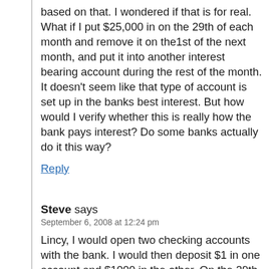based on that. I wondered if that is for real. What if I put $25,000 in on the 29th of each month and remove it on the1st of the next month, and put it into another interest bearing account during the rest of the month. It doesn't seem like that type of account is set up in the banks best interest. But how would I verify whether this is really how the bank pays interest? Do some banks actually do it this way?
Reply
Steve says
September 6, 2008 at 12:24 pm
Lincy, I would open two checking accounts with the bank. I would then deposit $1 in one account and $1000 in the other. On the 29th of the month, I would deposit $999 cash(!) (from a